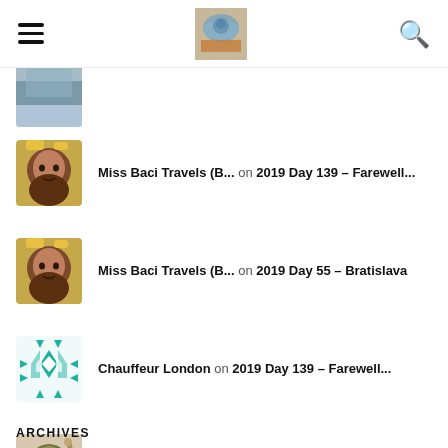Navigation header with hamburger menu, logo, and search icon
Miss Baci Travels (B... on 2019 Day 139 – Farewell...
Miss Baci Travels (B... on 2019 Day 55 – Bratislava
Chauffeur London on 2019 Day 139 – Farewell...
Dimitris Karvelis on 2019 Day 55 – Bratislava
ARCHIVES